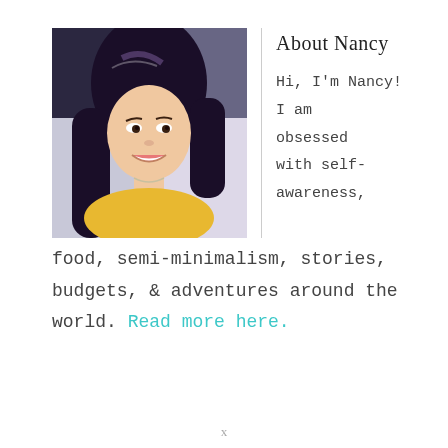[Figure (photo): Portrait photo of Nancy, a young Asian woman with long dark hair, smiling, wearing a yellow top and necklace]
About Nancy
Hi, I'm Nancy! I am obsessed with self-awareness, food, semi-minimalism, stories, budgets, & adventures around the world. Read more here.